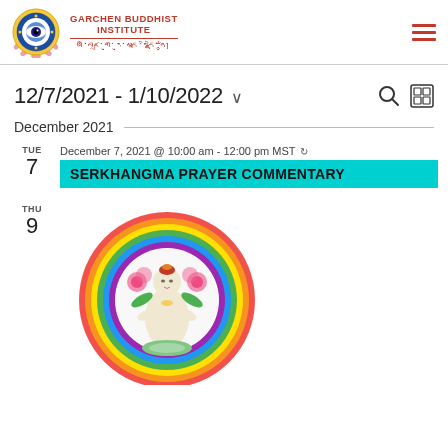[Figure (logo): Garchen Buddhist Institute logo with circular mandala emblem, institute name in red, and Tibetan script]
12/7/2021 - 1/10/2022
December 2021
TUE 7  December 7, 2021 @ 10:00 am - 12:00 pm MST
SERKHANGMA PRAYER COMMENTARY
THU 9
[Figure (illustration): Circular illustration of a white Tara or Buddhist deity figure with rainbow halo, flowers, seated in meditation pose]